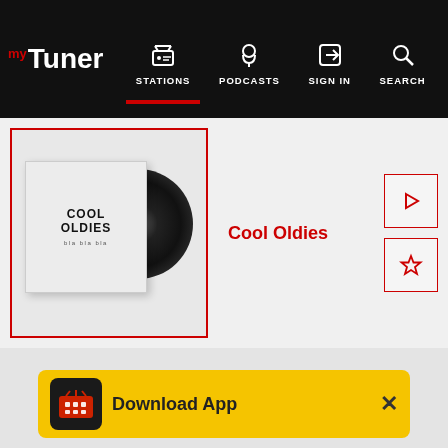myTuner — STATIONS | PODCASTS | SIGN IN | SEARCH
[Figure (screenshot): Cool Oldies radio station thumbnail with vinyl record and album cover]
Cool Oldies
[Figure (illustration): Play button (triangle icon) in red-bordered square]
[Figure (illustration): Star/favorite button in red-bordered square]
Download App